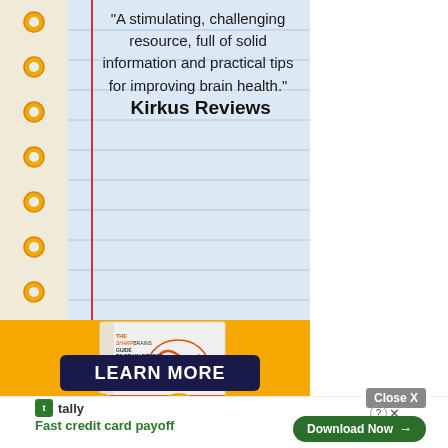"A stimulating, challenging resource, full of solid information and practical tips for improving brain health." Kirkus Reviews
[Figure (illustration): Book cover of 'The SharpBrains Guide to Brain Fitness' showing a colorful illustrated brain on a white book, displayed against an orange background with notepad-style ruled lines above.]
LEARN MORE
Fast credit card payoff
[Figure (logo): Tally app logo - green square icon with 'tally' text]
Download Now →
Close X